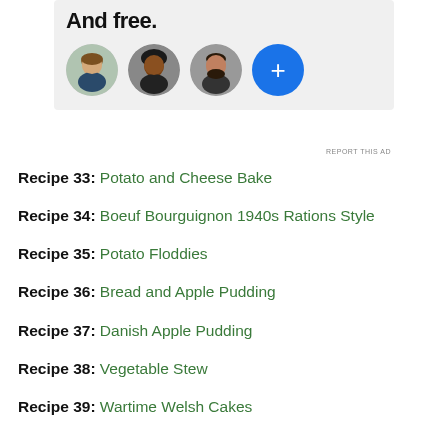[Figure (other): Advertisement banner showing 'And free.' text with three circular profile photos and a blue plus button, on a gray background]
REPORT THIS AD
Recipe 33: Potato and Cheese Bake
Recipe 34: Boeuf Bourguignon 1940s Rations Style
Recipe 35: Potato Floddies
Recipe 36: Bread and Apple Pudding
Recipe 37: Danish Apple Pudding
Recipe 38: Vegetable Stew
Recipe 39: Wartime Welsh Cakes